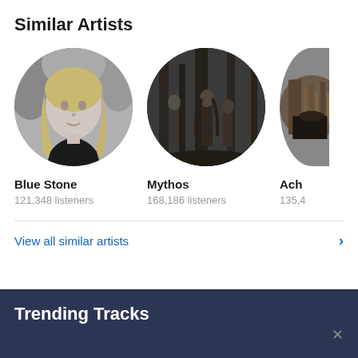Similar Artists
[Figure (photo): Black and white circular photo of Blue Stone artist, a woman with long blonde hair wearing black]
Blue Stone
121,348 listeners
[Figure (photo): Black and white circular photo of Mythos, a group of people standing in a dark forest]
Mythos
168,186 listeners
[Figure (photo): Partially visible circular photo of Ach... artist, cropped at right edge]
Ach
135,4
View all similar artists
Trending Tracks